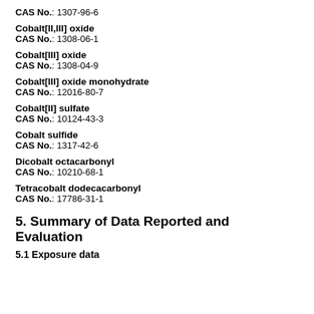CAS No.: 1307-96-6
Cobalt[II,III] oxide
CAS No.: 1308-06-1
Cobalt[III] oxide
CAS No.: 1308-04-9
Cobalt[III] oxide monohydrate
CAS No.: 12016-80-7
Cobalt[II] sulfate
CAS No.: 10124-43-3
Cobalt sulfide
CAS No.: 1317-42-6
Dicobalt octacarbonyl
CAS No.: 10210-68-1
Tetracobalt dodecacarbonyl
CAS No.: 17786-31-1
5. Summary of Data Reported and Evaluation
5.1 Exposure data